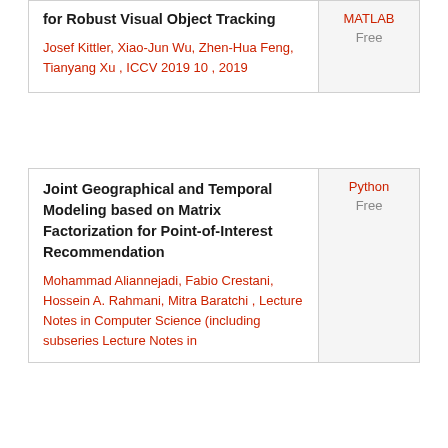for Robust Visual Object Tracking
Josef Kittler, Xiao-Jun Wu, Zhen-Hua Feng, Tianyang Xu , ICCV 2019 10 , 2019
MATLAB Free
Joint Geographical and Temporal Modeling based on Matrix Factorization for Point-of-Interest Recommendation
Mohammad Aliannejadi, Fabio Crestani, Hossein A. Rahmani, Mitra Baratchi , Lecture Notes in Computer Science (including subseries Lecture Notes in
Python Free